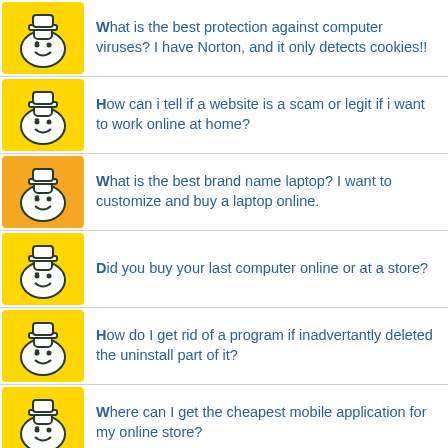What is the best protection against computer viruses? I have Norton, and it only detects cookies!!
How can i tell if a website is a scam or legit if i want to work online at home?
What is the best brand name laptop? I want to customize and buy a laptop online.
Did you buy your last computer online or at a store?
How do I get rid of a program if inadvertantly deleted the uninstall part of it?
Where can I get the cheapest mobile application for my online store?